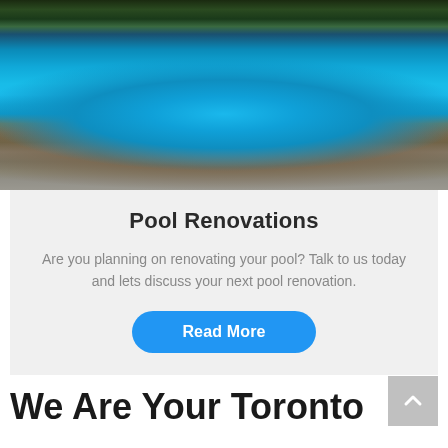[Figure (photo): Aerial/perspective view of a residential swimming pool with blue water at night, surrounded by concrete decking, with landscaping and a pergola in the background.]
Pool Renovations
Are you planning on renovating your pool? Talk to us today and lets discuss your next pool renovation.
Read More
We Are Your Toronto